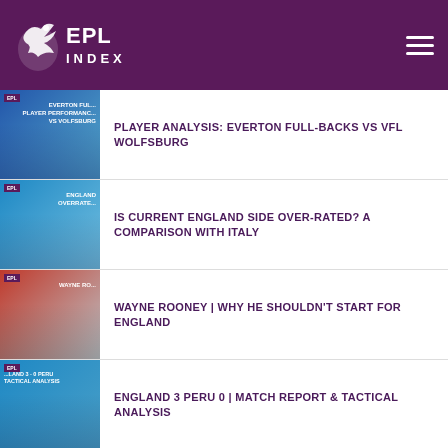EPL Index
PLAYER ANALYSIS: EVERTON FULL-BACKS VS VFL WOLFSBURG
IS CURRENT ENGLAND SIDE OVER-RATED? A COMPARISON WITH ITALY
WAYNE ROONEY | WHY HE SHOULDN'T START FOR ENGLAND
ENGLAND 3 PERU 0 | MATCH REPORT & TACTICAL ANALYSIS